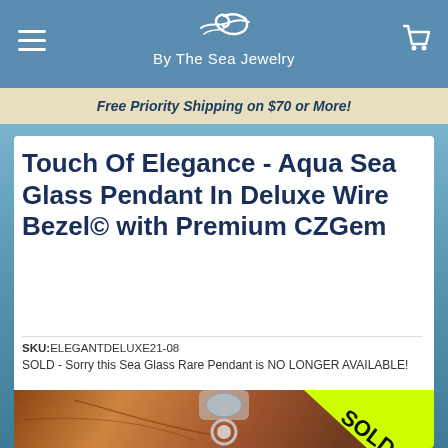By The Sea Jewelry
Free Priority Shipping on $70 or More!
Touch Of Elegance - Aqua Sea Glass Pendant In Deluxe Wire Bezel© with Premium CZGem
SKU:ELEGANTDELUXE21-08
SOLD - Sorry this Sea Glass Rare Pendant is NO LONGER AVAILABLE!
[Figure (photo): Jewelry pendant photo with SOLD diagonal banner overlay on a reddish-brown leaf background]